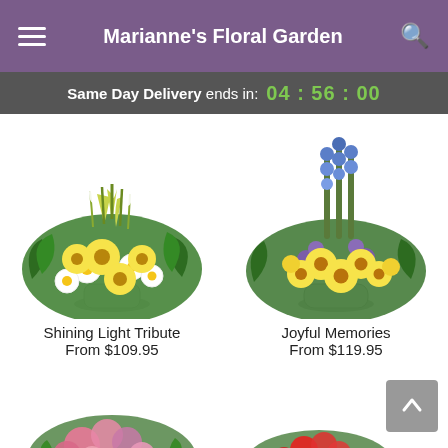Marianne's Floral Garden
Same Day Delivery ends in: 04 : 56 : 00
[Figure (photo): Yellow and white flower arrangement in white vase - Shining Light Tribute]
Shining Light Tribute
From $109.95
[Figure (photo): Blue, purple and yellow flower arrangement in white container - Joyful Memories]
Joyful Memories
From $119.95
[Figure (photo): Pink flower arrangement partially visible at bottom left]
[Figure (photo): Red and white flower arrangement partially visible at bottom right]